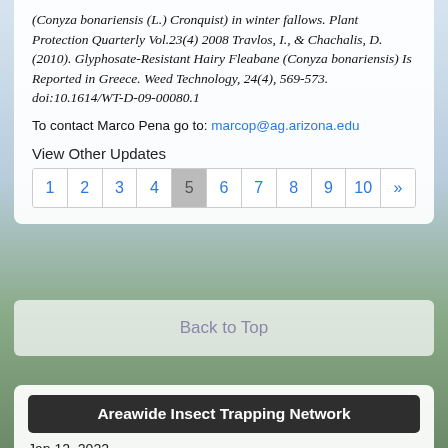(Conyza bonariensis (L.) Cronquist) in winter fallows. Plant Protection Quarterly Vol.23(4) 2008 Travlos, I., & Chachalis, D. (2010). Glyphosate-Resistant Hairy Fleabane (Conyza bonariensis) Is Reported in Greece. Weed Technology, 24(4), 569-573. doi:10.1614/WT-D-09-00080.1
To contact Marco Pena go to: marcop@ag.arizona.edu
View Other Updates
1 2 3 4 5 6 7 8 9 10 »
Back to Top
Areawide Insect Trapping Network
Jan 12, 2022